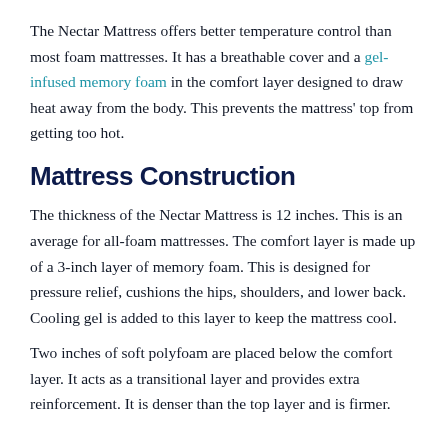The Nectar Mattress offers better temperature control than most foam mattresses. It has a breathable cover and a gel-infused memory foam in the comfort layer designed to draw heat away from the body. This prevents the mattress' top from getting too hot.
Mattress Construction
The thickness of the Nectar Mattress is 12 inches. This is an average for all-foam mattresses. The comfort layer is made up of a 3-inch layer of memory foam. This is designed for pressure relief, cushions the hips, shoulders, and lower back. Cooling gel is added to this layer to keep the mattress cool.
Two inches of soft polyfoam are placed below the comfort layer. It acts as a transitional layer and provides extra reinforcement. It is denser than the top layer and is firmer.